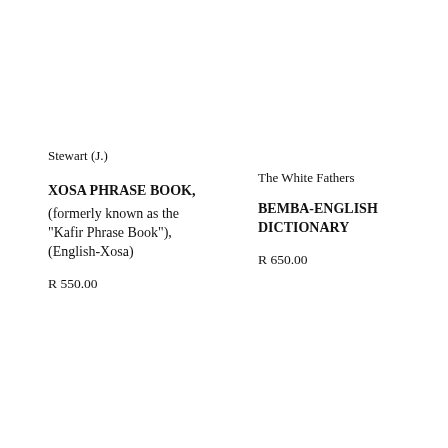Stewart (J.)
XOSA PHRASE BOOK, (formerly known as the "Kafir Phrase Book"), (English-Xosa)
R 550.00
The White Fathers
BEMBA-ENGLISH DICTIONARY
R 650.00